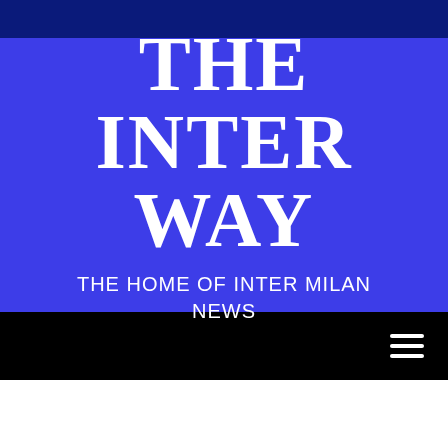THE INTER WAY
THE HOME OF INTER MILAN NEWS
[Figure (other): Hamburger menu icon (three horizontal white lines) on black navigation bar]
You are Here   Home   Opinion